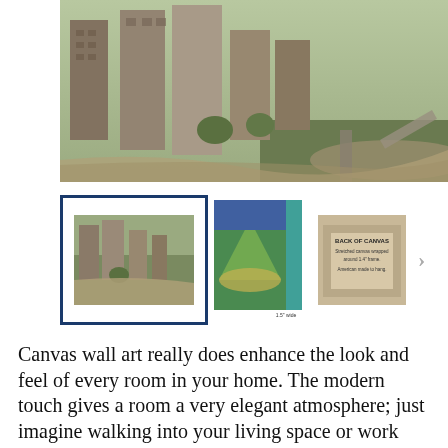[Figure (photo): Aerial view of a city with tall buildings, roads, and greenery — the main large product photo for a canvas wall art listing.]
[Figure (photo): Thumbnail 1 (selected, blue border): Aerial cityscape photo on canvas.]
[Figure (photo): Thumbnail 2: Side view of a canvas print showing a baseball stadium scene, with label '1.5 inch wide frame'.]
[Figure (photo): Thumbnail 3: Back of canvas with text 'BACK OF CANVAS — Stretched canvas wrapped around 1.4 inch frame. American made to hang.']
Canvas wall art really does enhance the look and feel of every room in your home. The modern touch gives a room a very elegant atmosphere; just imagine walking into your living space or work space and being confronted with a fabulous canvas print on the wall!